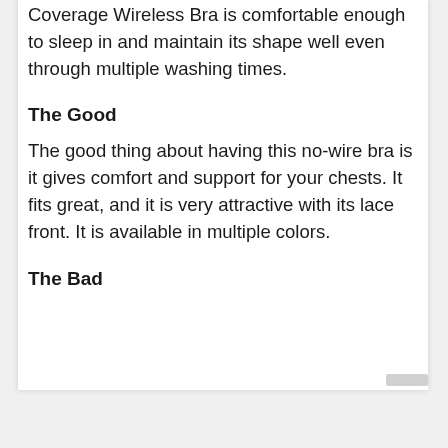Coverage Wireless Bra is comfortable enough to sleep in and maintain its shape well even through multiple washing times.
The Good
The good thing about having this no-wire bra is it gives comfort and support for your chests. It fits great, and it is very attractive with its lace front. It is available in multiple colors.
The Bad